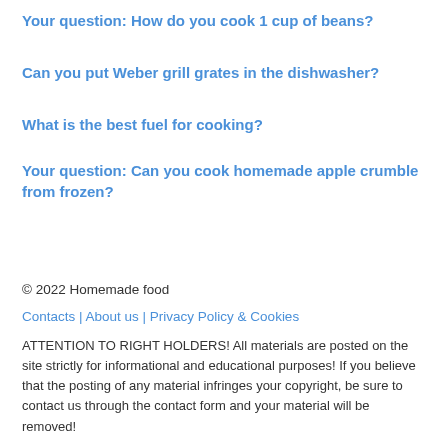Your question: How do you cook 1 cup of beans?
Can you put Weber grill grates in the dishwasher?
What is the best fuel for cooking?
Your question: Can you cook homemade apple crumble from frozen?
© 2022 Homemade food
Contacts | About us | Privacy Policy & Cookies
ATTENTION TO RIGHT HOLDERS! All materials are posted on the site strictly for informational and educational purposes! If you believe that the posting of any material infringes your copyright, be sure to contact us through the contact form and your material will be removed!